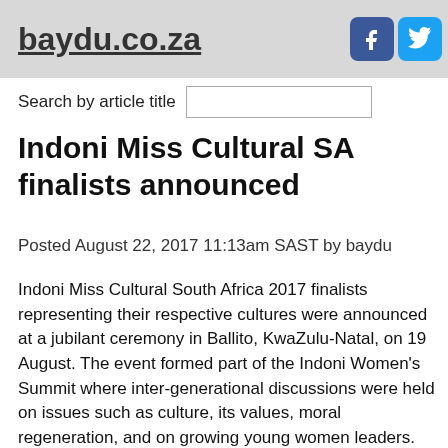baydu.co.za
Search by article title
Indoni Miss Cultural SA finalists announced
Posted August 22, 2017 11:13am SAST by baydu
Indoni Miss Cultural South Africa 2017 finalists representing their respective cultures were announced at a jubilant ceremony in Ballito, KwaZulu-Natal, on 19 August. The event formed part of the Indoni Women's Summit where inter-generational discussions were held on issues such as culture, its values, moral regeneration, and on growing young women leaders.
The young finalists, called princesses, were chosen by a panel of judges within their regions to represent their cultures, based on a variety of criteria that include Indoni Culture School exam results, their understanding of their